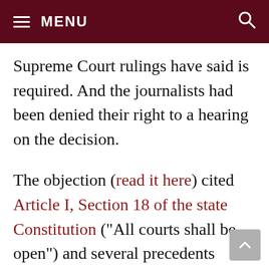MENU
Supreme Court rulings have said is required. And the journalists had been denied their right to a hearing on the decision.
The objection (read it here) cited Article I, Section 18 of the state Constitution (“All courts shall be open”) and several precedents supporting a “common law and constitutional right of access to